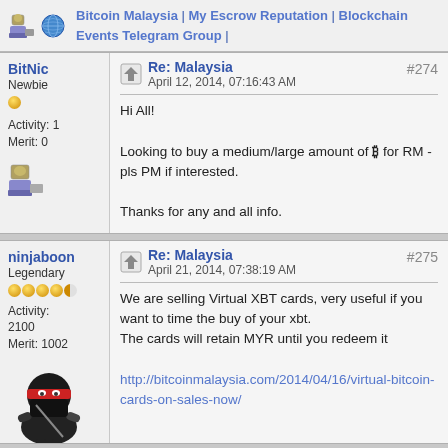[Figure (screenshot): Top strip with user avatar icons and links: Bitcoin Malaysia | My Escrow Reputation | Blockchain Events Telegram Group |]
Bitcoin Malaysia | My Escrow Reputation | Blockchain Events Telegram Group |
BitNic
Newbie
Activity: 1
Merit: 0
Re: Malaysia
April 12, 2014, 07:16:43 AM
#274
Hi All!

Looking to buy a medium/large amount of ₿ for RM - pls PM if interested.

Thanks for any and all info.
ninjaboon
Legendary
Activity: 2100
Merit: 1002
Re: Malaysia
April 21, 2014, 07:38:19 AM
#275
We are selling Virtual XBT cards, very useful if you want to time the buy of your xbt.
The cards will retain MYR until you redeem it
http://bitcoinmalaysia.com/2014/04/16/virtual-bitcoin-cards-on-sales-now/